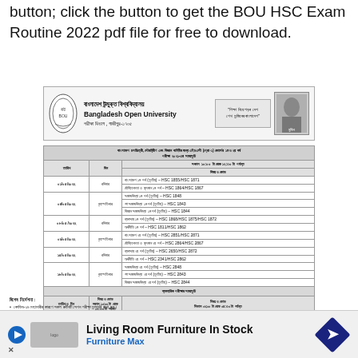button; click the button to get the BOU HSC Exam Routine 2022 pdf file for free to download.
[Figure (other): Bangladesh Open University official header with logo, university name in Bengali and English, address, slogan box, and portrait photo]
| তারিখ | দিন | বিষয় ও কোড |
| --- | --- | --- |
| ০১/০৫/২০২২ | রবিবার | বাংলাদেশ ১ম পর্ব (তৃতীয়) – HSC 1855/HSC 1871 |
|  |  | যৌক্তিকতা ও মূলমান ১ম পর্ব – HSC 1864/HSC 1867 |
| ০৪/০৫/২০২২ | বৃহস্পতিবার | সমাজবিদ্যা ১ম পর্ব (তৃতীয়) – HSC 1848 |
|  |  | গণ সমাজবিদ্যা ১ম পর্ব (তৃতীয়) – HSC 1843 |
|  |  | বিজ্ঞান সমাজবিদ্যা ১ম পর্ব (তৃতীয়) – HSC 1844 |
| ০৮/০৫/২০২২ | রবিবার | ব্যবসায় ১ম পর্ব (তৃতীয়) – HSC 1868/HSC 1875/HSC 1872 |
|  |  | অর্থনীতি ১ম পর্ব – HSC 1811/HSC 1862 |
| ০৯/০৫/২০২২ | বৃহস্পতিবার | বাংলাদেশ ২য় পর্ব (তৃতীয়) – HSC 2851/HSC 2871 |
|  |  | যৌক্তিকতা ও মূলমান ২য় পর্ব – HSC 2864/HSC 2867 |
| ১৫/০৫/২০২২ | রবিবার | ব্যবসায় ২য় পর্ব (তৃতীয়) – HSC 2650/HSC 2872 |
|  |  | অর্থনীতি ২য় পর্ব – HSC 2341/HSC 2862 |
| ১৮/০৫/২০২২ | বৃহস্পতিবার | সমাজবিদ্যা ২য় পর্ব (তৃতীয়) – HSC 2848 |
|  |  | গণ সমাজবিদ্যা ২য় পর্ব (তৃতীয়) – HSC 2843 |
|  |  | বিজ্ঞান সমাজবিদ্যা ২য় পর্ব (তৃতীয়) – HSC 2844 |
বিশেষ নির্দেশনা:
কোভিড-১৯ মহামারীর কারণে সকল রুটিনটি সেশন পরীক্ষা মুলতবি রাখা হয়।
পরীক্ষা শুরু ৩০ (মিনিট) বিলম্ব পূর্বে পরীক্ষার্থীকে পরীক্ষা কক্ষে আসতে হবে করতে হবে।
পরীক্ষা পরে (পরীক্ষা কার্ড) সাথে নিয়ে তিনি নিজেই পরীক্ষায় অংশগ্রহণ করতে পারবেন না।
[Figure (other): Advertisement banner for Living Room Furniture In Stock - Furniture Max]